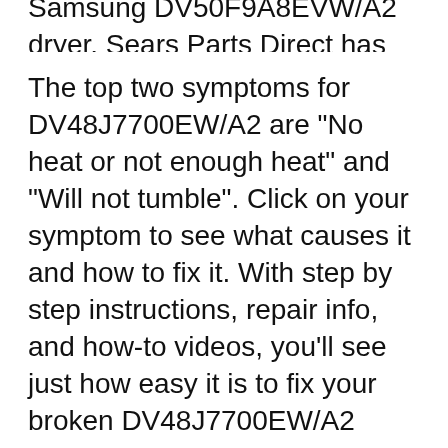Samsung DV50F9A8EVW/A2 dryer. Sears Parts Direct has parts, manuals & part diagrams for all types of repair projects to help you fix your dryer!
The top two symptoms for DV48J7700EW/A2 are "No heat or not enough heat" and "Will not tumble". Click on your symptom to see what causes it and how to fix it. With step by step instructions, repair info, and how-to videos, you’ll see just how easy it is to fix your broken DV48J7700EW/A2 Samsung Dryer. Samsung DV50F9A8EVW/A2 Pdf User Manuals. View online or download Samsung DV50F9A8EVW/A2 User Manual